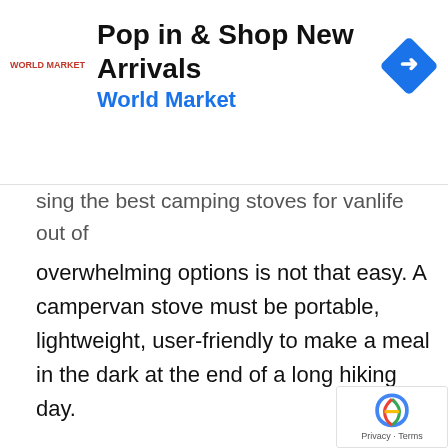[Figure (screenshot): Advertisement banner for World Market: 'Pop in & Shop New Arrivals' with World Market logo and blue navigation icon]
sing the best camping stoves for vanlife out of overwhelming options is not that easy. A campervan stove must be portable, lightweight, user-friendly to make a meal in the dark at the end of a long hiking day.
A simple portable gas stove could be the right option for many, but other types of campervan stoves are available. These include the likes of propane, butane, and induction stoves. You can pick the one based on the fuel source availability and your